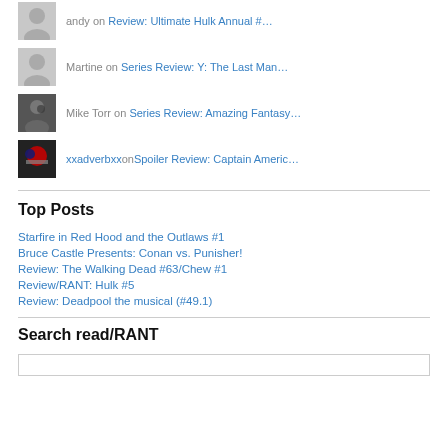andy on Review: Ultimate Hulk Annual #...
Martine on Series Review: Y: The Last Man...
Mike Torr on Series Review: Amazing Fantasy…
xxadverbxx on Spoiler Review: Captain Americ...
Top Posts
Starfire in Red Hood and the Outlaws #1
Bruce Castle Presents: Conan vs. Punisher!
Review: The Walking Dead #63/Chew #1
Review/RANT: Hulk #5
Review: Deadpool the musical (#49.1)
Search read/RANT